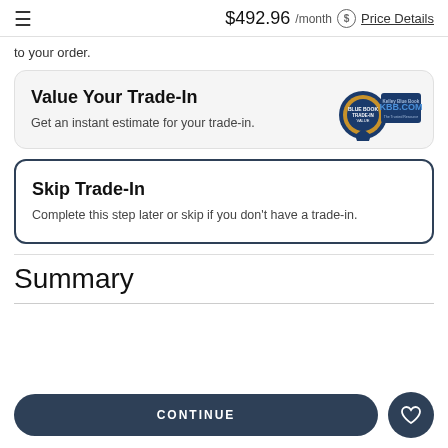$492.96 /month  Price Details
to your order.
Value Your Trade-In
Get an instant estimate for your trade-in.
Skip Trade-In
Complete this step later or skip if you don't have a trade-in.
Summary
CONTINUE